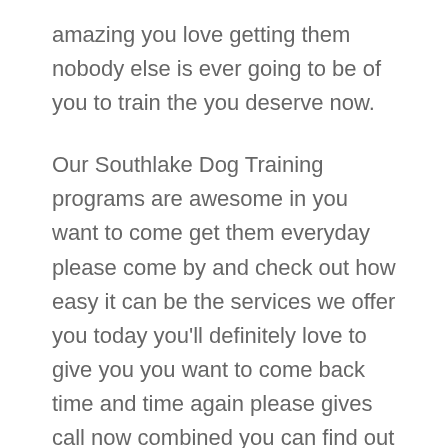amazing you love getting them nobody else is ever going to be of you to train the you deserve now.
Our Southlake Dog Training programs are awesome in you want to come get them everyday please come by and check out how easy it can be the services we offer you today you'll definitely love to give you you want to come back time and time again please gives call now combined you can find out what is like right now to get everything you need. These type of services are insane you love getting them please gives call now